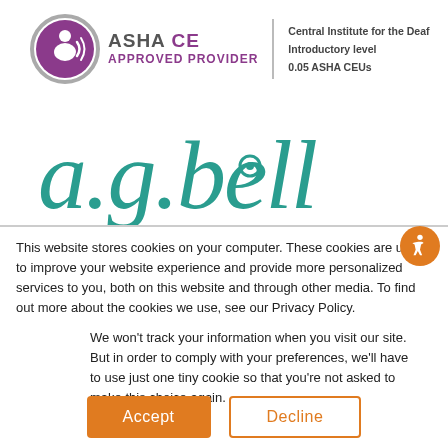[Figure (logo): ASHA CE Approved Provider logo with circular icon, text 'ASHA CE APPROVED PROVIDER', vertical divider, and right-side text: 'Central Institute for the Deaf', 'Introductory level', '0.05 ASHA CEUs']
[Figure (logo): a.g.bell logo in teal/green color, large stylized text]
This website stores cookies on your computer. These cookies are used to improve your website experience and provide more personalized services to you, both on this website and through other media. To find out more about the cookies we use, see our Privacy Policy.
We won't track your information when you visit our site. But in order to comply with your preferences, we'll have to use just one tiny cookie so that you're not asked to make this choice again.